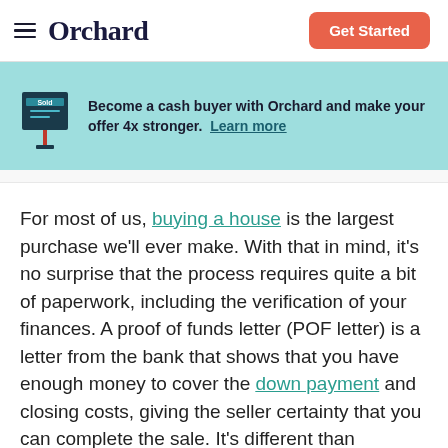Orchard — Get Started
Become a cash buyer with Orchard and make your offer 4x stronger. Learn more
For most of us, buying a house is the largest purchase we'll ever make. With that in mind, it's no surprise that the process requires quite a bit of paperwork, including the verification of your finances. A proof of funds letter (POF letter) is a letter from the bank that shows that you have enough money to cover the down payment and closing costs, giving the seller certainty that you can complete the sale. It's different than preapproval, which